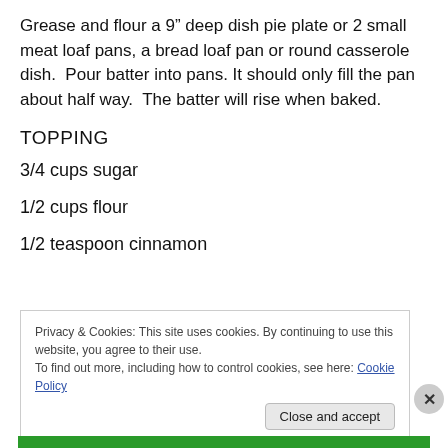Grease and flour a 9” deep dish pie plate or 2 small meat loaf pans, a bread loaf pan or round casserole dish.  Pour batter into pans. It should only fill the pan about half way.  The batter will rise when baked.
TOPPING
3/4 cups sugar
1/2 cups flour
1/2 teaspoon cinnamon
Privacy & Cookies: This site uses cookies. By continuing to use this website, you agree to their use.
To find out more, including how to control cookies, see here: Cookie Policy